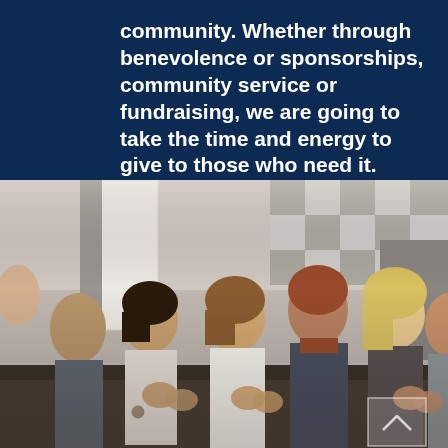community. Whether through benevolence or sponsorships, community service or fundraising, we are going to take the time and energy to give to those who need it.
[Figure (photo): A group of diverse young adults sitting together, mostly applauding and smiling, in what appears to be an indoor seminar or community event setting. The background shows a geometric checkered wall pattern and a white door or panel.]